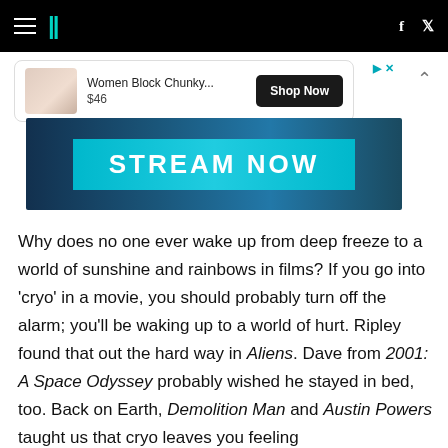HuffPost navigation header with hamburger menu, logo, Facebook and Twitter icons
[Figure (screenshot): Advertisement: Women Block Chunky... $46 with Shop Now button and ad controls]
[Figure (screenshot): STREAM NOW banner advertisement with dark blue background]
Why does no one ever wake up from deep freeze to a world of sunshine and rainbows in films? If you go into 'cryo' in a movie, you should probably turn off the alarm; you'll be waking up to a world of hurt. Ripley found that out the hard way in Aliens. Dave from 2001: A Space Odyssey probably wished he stayed in bed, too. Back on Earth, Demolition Man and Austin Powers taught us that cryo leaves you feeling